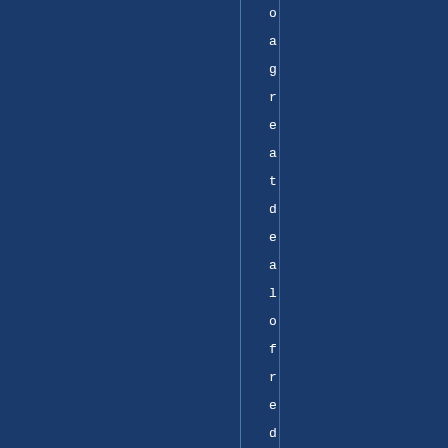o a g r e a t d e a l o f r e d u n d a n c y . A s u c c o